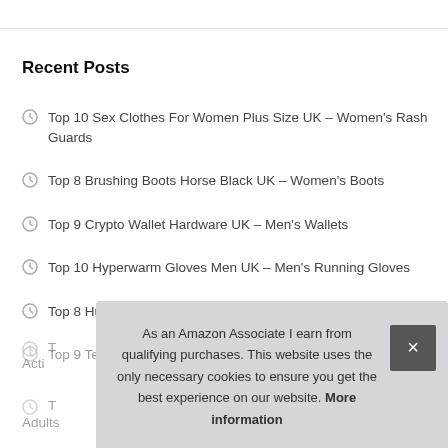Recent Posts
Top 10 Sex Clothes For Women Plus Size UK – Women's Rash Guards
Top 8 Brushing Boots Horse Black UK – Women's Boots
Top 9 Crypto Wallet Hardware UK – Men's Wallets
Top 10 Hyperwarm Gloves Men UK – Men's Running Gloves
Top 8 Hull City Gifts UK – Men's Cigarette Cases
Top 9 Teddys for Girls UK – Girls' Hoodies
T... Acti...
T... Adults
As an Amazon Associate I earn from qualifying purchases. This website uses the only necessary cookies to ensure you get the best experience on our website. More information